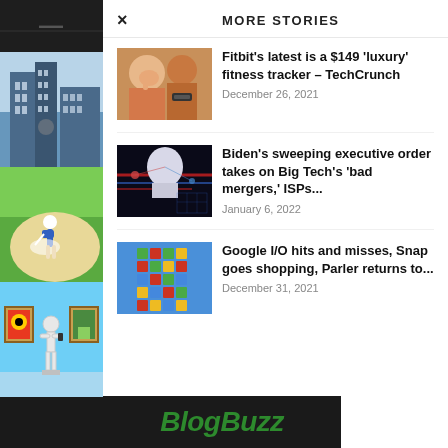[Figure (illustration): Left sidebar with stacked thumbnail images: dark top section, building/skyscraper photo, golf bunker shot, cartoon museum scene; dark bottom section with BlogBuzz logo]
× MORE STORIES
[Figure (photo): Fitbit story thumbnail – woman covering mouth, fitness tracker context]
Fitbit's latest is a $149 'luxury' fitness tracker – TechCrunch
December 26, 2021
[Figure (photo): Biden executive order story thumbnail – stylized portrait with tech/data visualization overlay]
Biden's sweeping executive order takes on Big Tech's 'bad mergers,' ISPs...
January 6, 2022
[Figure (screenshot): Google I/O story thumbnail – colorful grid of squares on blue background]
Google I/O hits and misses, Snap goes shopping, Parler returns to...
December 31, 2021
BlogBuzz